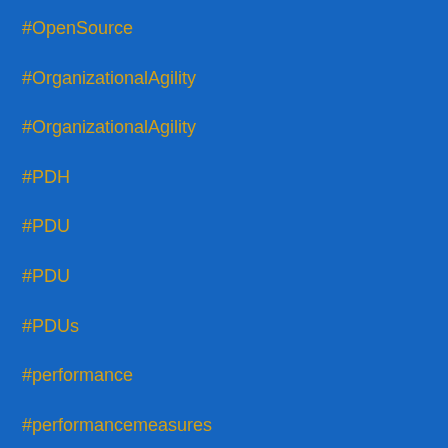#OpenSource
#OrganizationalAgility
#OrganizationalAgility
#PDH
#PDU
#PDU
#PDUs
#performance
#performancemeasures